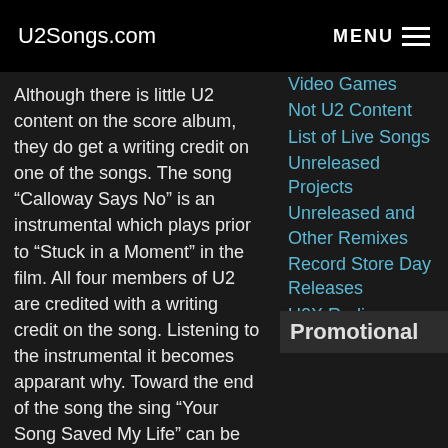U2Songs.com    MENU
Although there is little U2 content on the score album, they do get a writing credit on one of the songs. The song “Calloway Says No” is an instrumental which plays prior to “Stuck in a Moment” in the film. All four members of U2 are credited with a writing credit on the song. Listening to the instrumental it becomes apparant why. Toward the end of the song the sing “Your Song Saved My Life” can be heard.
Talbot who composed the soundtrack is a one time member of Northern Ireland’s pop band, The Divine Comedy. He was born in the UK, and joined The Divine Comedy between 1998 and 2003. He later worked in
Video Games
Not U2 Content
List of Live Songs
Unreleased Projects
Unreleased and Other Remixes
Record Store Day Releases
U2X Radio on SiriusXM
Promotional